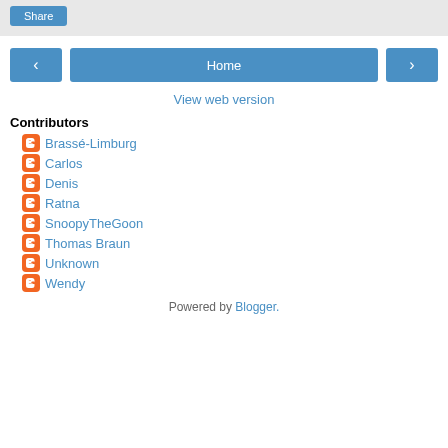[Figure (screenshot): Share button in a grey top bar]
[Figure (screenshot): Navigation row with left arrow, Home button, and right arrow]
View web version
Contributors
Brassé-Limburg
Carlos
Denis
Ratna
SnoopyTheGoon
Thomas Braun
Unknown
Wendy
Powered by Blogger.